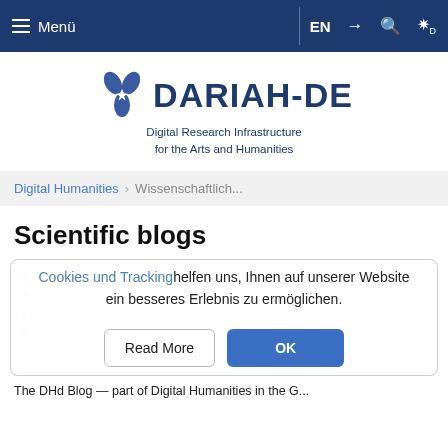≡ Menü | EN → 🔍 ✿D
[Figure (logo): DARIAH-DE logo with flower icon and subtitle: Digital Research Infrastructure for the Arts and Humanities]
Digital Humanities > Wissenschaftlich...
Scientific blogs
Cookies und Tracking helfen uns, Ihnen auf unserer Website ein besseres Erlebnis zu ermöglichen.
Read More | OK
The DHd Blog — part of Digital Humanities in the G...